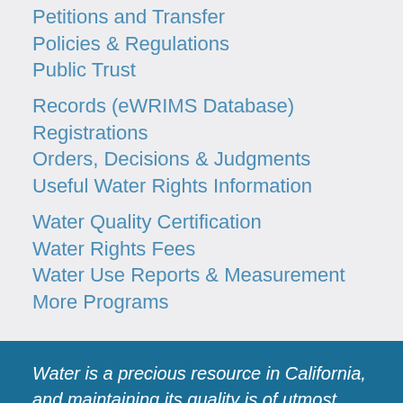Petitions and Transfer
Policies & Regulations
Public Trust
Records (eWRIMS Database)
Registrations
Orders, Decisions & Judgments
Useful Water Rights Information
Water Quality Certification
Water Rights Fees
Water Use Reports & Measurement
More Programs
Water is a precious resource in California, and maintaining its quality is of utmost importance to safeguard the health of the public and the environment.
Statewide Campaigns